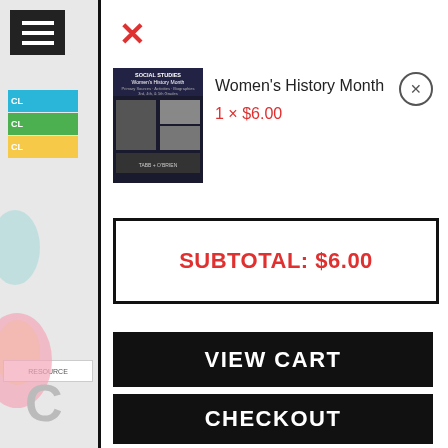[Figure (screenshot): Shopping cart overlay on an educational resources website showing a product (Women's History Month), subtotal, and checkout buttons]
Women's History Month
1 × $6.00
SUBTOTAL: $6.00
VIEW CART
CHECKOUT